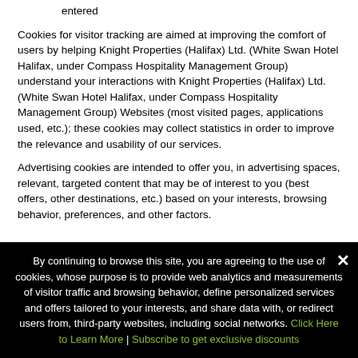entered
Cookies for visitor tracking are aimed at improving the comfort of users by helping Knight Properties (Halifax) Ltd. (White Swan Hotel Halifax, under Compass Hospitality Management Group) understand your interactions with Knight Properties (Halifax) Ltd. (White Swan Hotel Halifax, under Compass Hospitality Management Group) Websites (most visited pages, applications used, etc.); these cookies may collect statistics in order to improve the relevance and usability of our services.
Advertising cookies are intended to offer you, in advertising spaces, relevant, targeted content that may be of interest to you (best offers, other destinations, etc.) based on your interests, browsing behavior, preferences, and other factors.
By continuing to browse this site, you are agreeing to the use of cookies, whose purpose is to provide web analytics and measurements of visitor traffic and browsing behavior, define personalized services and offers tailored to your interests, and share data with, or redirect users from, third-party websites, including social networks. Click Here to Learn More | Subscribe to get exclusive discounts